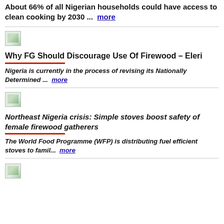About 66% of all Nigerian households could have access to clean cooking by 2030 ...  more
[Figure (photo): Thumbnail image for article about Why FG Should Discourage Use Of Firewood]
Why FG Should Discourage Use Of Firewood – Eleri
Nigeria is currently in the process of revising its Nationally Determined ...  more
[Figure (photo): Thumbnail image for article about Northeast Nigeria crisis]
Northeast Nigeria crisis: Simple stoves boost safety of female firewood gatherers
The World Food Programme (WFP) is distributing fuel efficient stoves to famil...  more
[Figure (photo): Thumbnail image for next article]